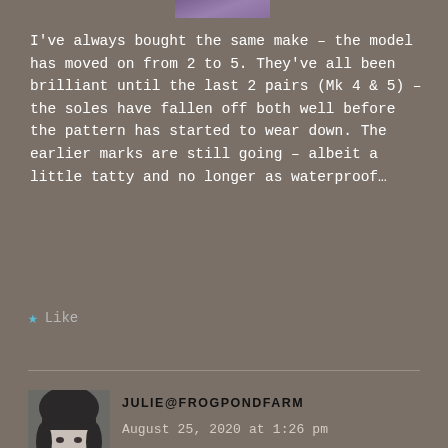[Figure (photo): Partial avatar photo visible at top of page, purple/lavender tones]
I've always bought the same make – the model has moved on from 2 to 5. They've all been brilliant until the last 2 pairs (Mk 4 & 5) – the soles have fallen off both well before the pattern has started to wear down. The earlier marks are still going – albeit a little tatty and no longer as waterproof…
★ Like
[Figure (photo): Black and white portrait photo of a woman with dark bangs, smiling]
JULIE@FROGPONDFARM
August 25, 2020 at 1:26 pm